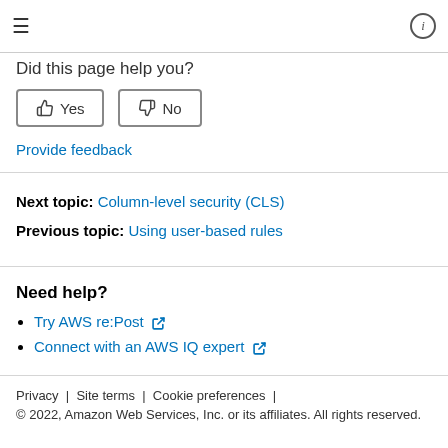≡  ⓘ
Did this page help you?
Yes  No
Provide feedback
Next topic: Column-level security (CLS)
Previous topic: Using user-based rules
Need help?
Try AWS re:Post
Connect with an AWS IQ expert
Privacy | Site terms | Cookie preferences |
© 2022, Amazon Web Services, Inc. or its affiliates. All rights reserved.